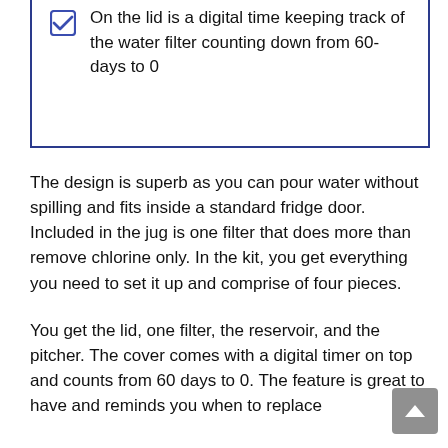On the lid is a digital time keeping track of the water filter counting down from 60-days to 0
The design is superb as you can pour water without spilling and fits inside a standard fridge door. Included in the jug is one filter that does more than remove chlorine only. In the kit, you get everything you need to set it up and comprise of four pieces.
You get the lid, one filter, the reservoir, and the pitcher. The cover comes with a digital timer on top and counts from 60 days to 0. The feature is great to have and reminds you when to replace